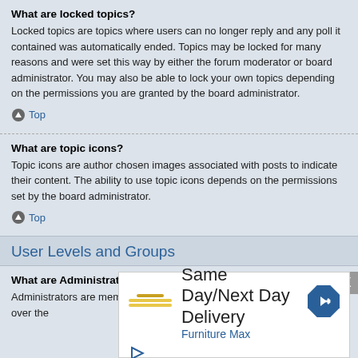What are locked topics?
Locked topics are topics where users can no longer reply and any poll it contained was automatically ended. Topics may be locked for many reasons and were set this way by either the forum moderator or board administrator. You may also be able to lock your own topics depending on the permissions you are granted by the board administrator.
Top
What are topic icons?
Topic icons are author chosen images associated with posts to indicate their content. The ability to use topic icons depends on the permissions set by the board administrator.
Top
User Levels and Groups
What are Administrators?
Administrators are members assigned with the highest level of control over the
[Figure (screenshot): Advertisement banner: Same Day/Next Day Delivery - Furniture Max, with a blue navigation arrow icon and a play button icon. An X close button appears at the top right.]